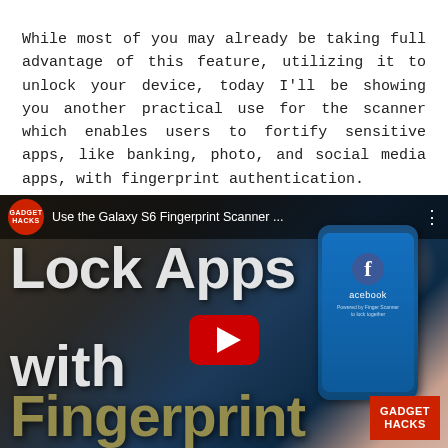While most of you may already be taking full advantage of this feature, utilizing it to unlock your device, today I'll be showing you another practical use for the scanner which enables users to fortify sensitive apps, like banking, photo, and social media apps, with fingerprint authentication.
[Figure (screenshot): YouTube video thumbnail for Gadget Hacks video titled 'Use the Galaxy S6 Fingerprint Scanner ...' showing large text overlay reading 'Lock Apps with Fingerprint' over a dark background with a smartphone showing Facebook app, and a YouTube play button in the center. Gadget Hacks logo badge in bottom-right corner.]